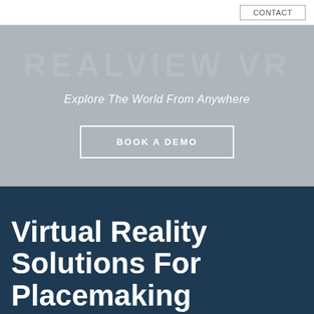[Figure (screenshot): Hero banner with gray background showing REALVIEW VR watermark text, tagline 'Explore The World From Anywhere', and a 'BOOK A DEMO' button with white border]
Virtual Reality Solutions For Placemaking